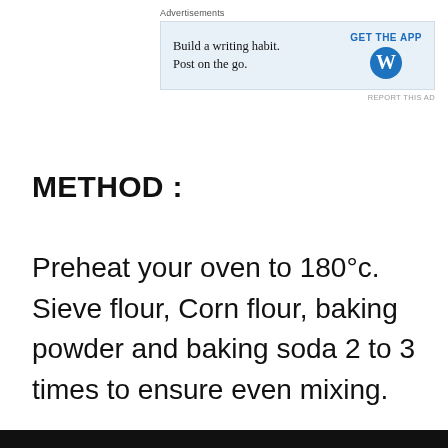[Figure (other): Advertisement banner: 'Build a writing habit. Post on the go.' with GET THE APP button and WordPress logo on blue background]
METHOD :
Preheat your oven to 180°c. Sieve flour, Corn flour, baking powder and baking soda 2 to 3 times to ensure even mixing.